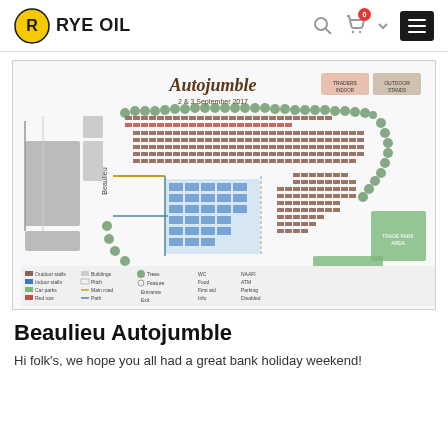RYE OIL
[Figure (map): Beaulieu Autojumble site map showing layout of exhibitor stalls, car parks, entrance points, and facilities for the 2 & 3 September event. Includes a legend with symbols for various features.]
Beaulieu Autojumble
Hi folk's, we hope you all had a great bank holiday weekend!